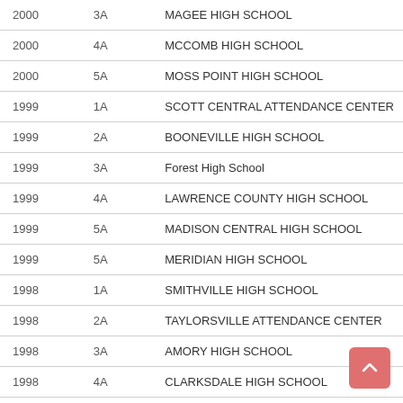| Year | Class | School |
| --- | --- | --- |
| 2000 | 3A | MAGEE HIGH SCHOOL |
| 2000 | 4A | MCCOMB HIGH SCHOOL |
| 2000 | 5A | MOSS POINT HIGH SCHOOL |
| 1999 | 1A | SCOTT CENTRAL ATTENDANCE CENTER |
| 1999 | 2A | BOONEVILLE HIGH SCHOOL |
| 1999 | 3A | Forest High School |
| 1999 | 4A | LAWRENCE COUNTY HIGH SCHOOL |
| 1999 | 5A | MADISON CENTRAL HIGH SCHOOL |
| 1999 | 5A | MERIDIAN HIGH SCHOOL |
| 1998 | 1A | SMITHVILLE HIGH SCHOOL |
| 1998 | 2A | TAYLORSVILLE ATTENDANCE CENTER |
| 1998 | 3A | AMORY HIGH SCHOOL |
| 1998 | 4A | CLARKSDALE HIGH SCHOOL |
| 1998 | 5A | SOUTH PANOLA HIGH SCHOOL |